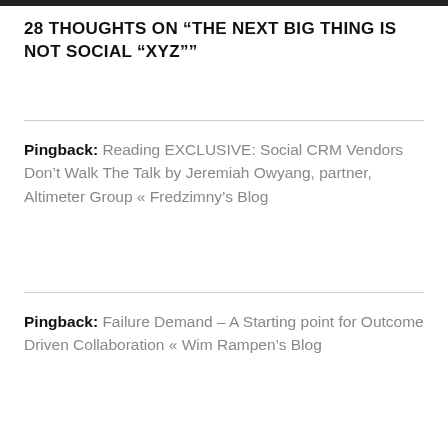28 THOUGHTS ON “THE NEXT BIG THING IS NOT SOCIAL “XYZ””
Pingback: Reading EXCLUSIVE: Social CRM Vendors Don’t Walk The Talk by Jeremiah Owyang, partner, Altimeter Group « Fredzimny’s Blog
Pingback: Failure Demand – A Starting point for Outcome Driven Collaboration « Wim Rampen’s Blog